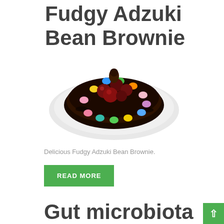Fudgy Adzuki Bean Brownie
[Figure (photo): A round chocolate brownie cake decorated with colorful candy-coated chocolates around the edge and dark cherries on top, served on a white plate with chocolate sauce drizzled around it.]
Delicious Fudgy Adzuki Bean Brownie.
READ MORE
Gut microbiota